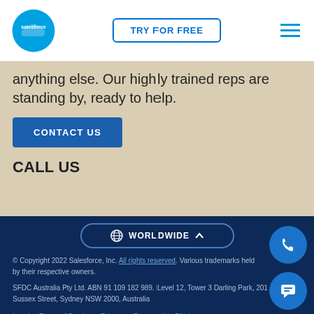Salesforce logo | TRY FOR FREE | hamburger menu
anything else. Our highly trained reps are standing by, ready to help.
CONTACT US
CALL US
WORLDWIDE
© Copyright 2022 Salesforce, Inc. All rights reserved. Various trademarks held by their respective owners. SFDC Australia Pty Ltd. ABN 91 109 182 989. Level 12, Tower 3 Darling Park, 201 Sussex Street, Sydney NSW 2000, Australia
Legal | Terms of Service | Privacy | Responsible Disclosure | Trust | Contact | Cookie Preferences